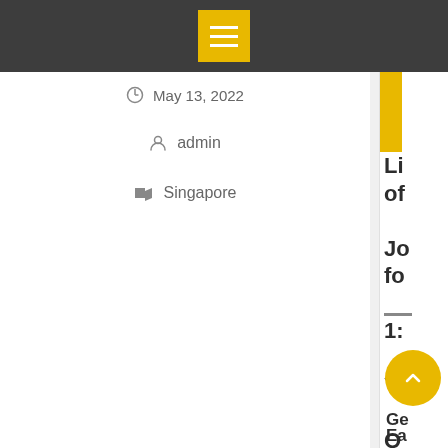[Figure (screenshot): Navigation bar with yellow hamburger menu icon on dark gray background]
May 13, 2022
admin
Singapore
[Figure (screenshot): Right sidebar with yellow bar, partial text links and back-to-top button]